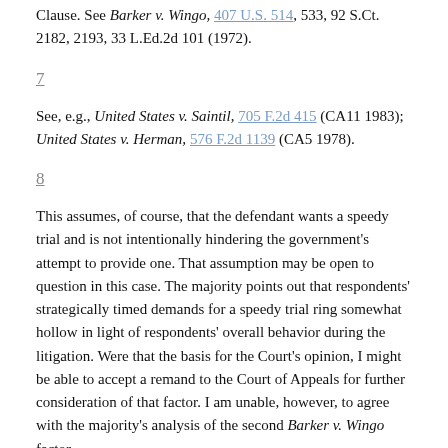Clause. See Barker v. Wingo, 407 U.S. 514, 533, 92 S.Ct. 2182, 2193, 33 L.Ed.2d 101 (1972).
7
See, e.g., United States v. Saintil, 705 F.2d 415 (CA11 1983); United States v. Herman, 576 F.2d 1139 (CA5 1978).
8
This assumes, of course, that the defendant wants a speedy trial and is not intentionally hindering the government's attempt to provide one. That assumption may be open to question in this case. The majority points out that respondents' strategically timed demands for a speedy trial ring somewhat hollow in light of respondents' overall behavior during the litigation. Were that the basis for the Court's opinion, I might be able to accept a remand to the Court of Appeals for further consideration of that factor. I am unable, however, to agree with the majority's analysis of the second Barker v. Wingo factor.
9